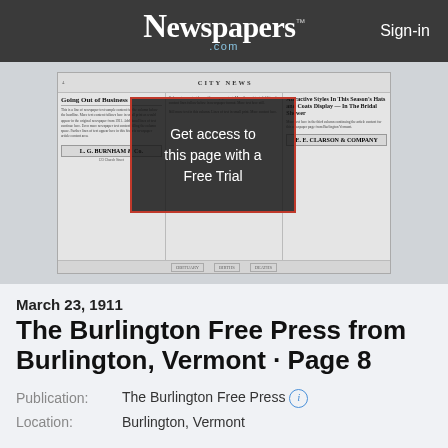Newspapers.com — Sign-in
[Figure (screenshot): Scanned newspaper page preview showing columns with headline 'Going Out of Business', 'City News', and 'L. G. Burnham' ad, with a dark overlay box reading 'Get access to this page with a Free Trial']
March 23, 1911
The Burlington Free Press from Burlington, Vermont · Page 8
Publication: The Burlington Free Press
Location: Burlington, Vermont